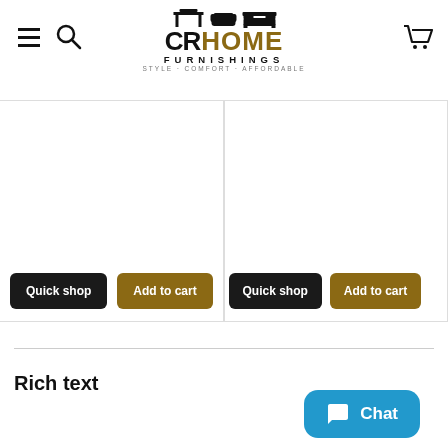[Figure (logo): CR Home Furnishings logo with furniture icons and tagline STYLE - COMFORT - AFFORDABLE]
[Figure (screenshot): Left product card with white product image area, Quick shop black button and Add to cart gold button]
[Figure (screenshot): Right product card with white product image area, Quick shop black button and Add to cart gold button]
Rich text
[Figure (other): Chat button with chat icon]